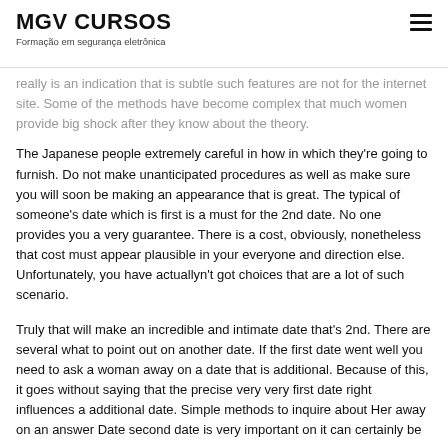MGV CURSOS
Formação em segurança eletrônica
really is an indication that is subtle such features are not for the internet site. Some of the methods have become complex that much women provide big shock after they know about the theory.
The Japanese people extremely careful in how in which they're going to furnish. Do not make unanticipated procedures as well as make sure you will soon be making an appearance that is great. The typical of someone's date which is first is a must for the 2nd date. No one provides you a very guarantee. There is a cost, obviously, nonetheless that cost must appear plausible in your everyone and direction else. Unfortunately, you have actuallyn't got choices that are a lot of such scenario.
Truly that will make an incredible and intimate date that's 2nd. There are several what to point out on another date. If the first date went well you need to ask a woman away on a date that is additional. Because of this, it goes without saying that the precise very very first date right influences a additional date. Simple methods to inquire about Her away on an answer Date second date is very important on it can certainly be